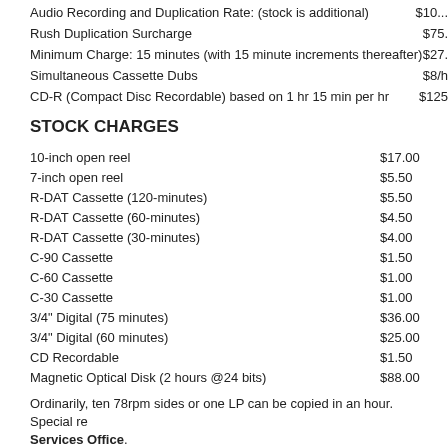Audio Recording and Duplication Rate: (stock is additional)  $10...
Rush Duplication Surcharge  $75.
Minimum Charge: 15 minutes (with 15 minute increments thereafter)  $27.
Simultaneous Cassette Dubs  $8/h
CD-R (Compact Disc Recordable) based on 1 hr 15 min per hr  $125
STOCK CHARGES
10-inch open reel  $17.00
7-inch open reel  $5.50
R-DAT Cassette (120-minutes)  $5.50
R-DAT Cassette (60-minutes)  $4.50
R-DAT Cassette (30-minutes)  $4.00
C-90 Cassette  $1.50
C-60 Cassette  $1.00
C-30 Cassette  $1.00
3/4" Digital (75 minutes)  $36.00
3/4" Digital (60 minutes)  $25.00
CD Recordable  $1.50
Magnetic Optical Disk (2 hours @24 bits)  $88.00
Ordinarily, ten 78rpm sides or one LP can be copied in an hour. Special re... Services Office.